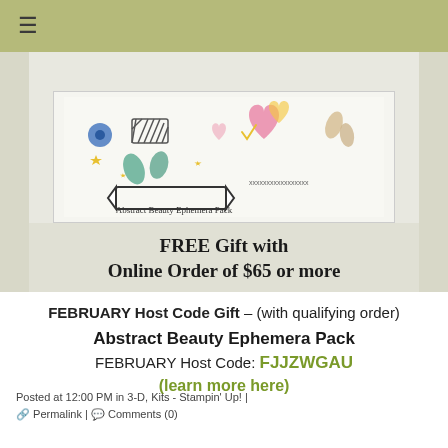☰
[Figure (illustration): Abstract Beauty Ephemera Pack product image showing decorative stickers including a flower, diagonal stripes pattern, leaf shapes, stars, a heart, and leaf sprigs, with a banner ribbon shape, above text 'FREE Gift with Online Order of $65 or more']
FEBRUARY Host Code Gift – (with qualifying order)
Abstract Beauty Ephemera Pack
FEBRUARY Host Code: FJJZWGAU
(learn more here)
Posted at 12:00 PM in 3-D, Kits - Stampin' Up! | 🔗 Permalink | 💬 Comments (0)